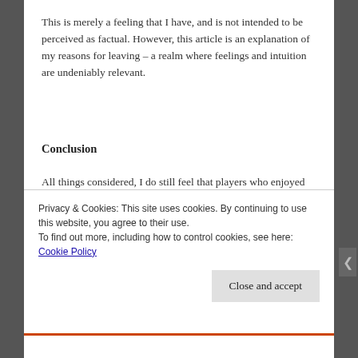This is merely a feeling that I have, and is not intended to be perceived as factual. However, this article is an explanation of my reasons for leaving – a realm where feelings and intuition are undeniably relevant.
Conclusion
All things considered, I do still feel that players who enjoyed the game in the beta weekends will be more than able to get their money's worth from the content that is already in game, though I do consider waiting for free-to-play to be viable path as well. Many people will enjoy this
Privacy & Cookies: This site uses cookies. By continuing to use this website, you agree to their use.
To find out more, including how to control cookies, see here: Cookie Policy